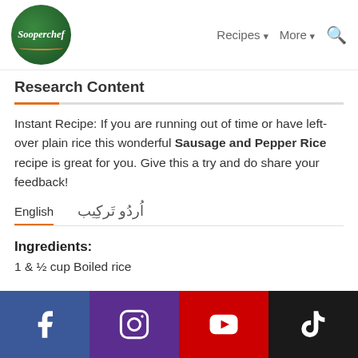[Figure (logo): Sooperchef green circular logo with white italic text and orange swoosh]
Recipes ∨  More ∨  🔍
Research Content
Instant Recipe: If you are running out of time or have left-over plain rice this wonderful Sausage and Pepper Rice recipe is great for you. Give this a try and do share your feedback!
English    اُردُو تَرکِیب
Ingredients:
1 & ½ cup Boiled rice
[Figure (logo): Social media footer: Facebook, Instagram, YouTube, TikTok icons]